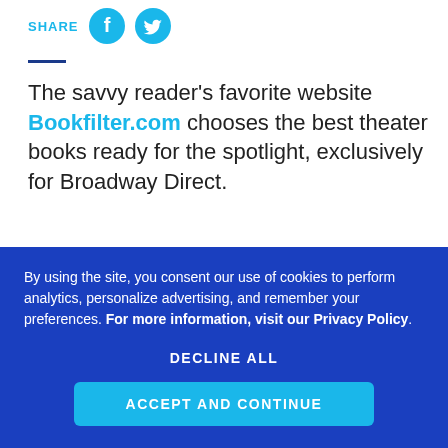SHARE
The savvy reader's favorite website Bookfilter.com chooses the best theater books ready for the spotlight, exclusively for Broadway Direct.
Summertime. It's the perfect time of year to send the kids to theater camp, take a road trip to visit your favorite theatres around the
By using the site, you consent our use of cookies to perform analytics, personalize advertising, and remember your preferences. For more information, visit our Privacy Policy.
DECLINE ALL
ACCEPT AND CONTINUE